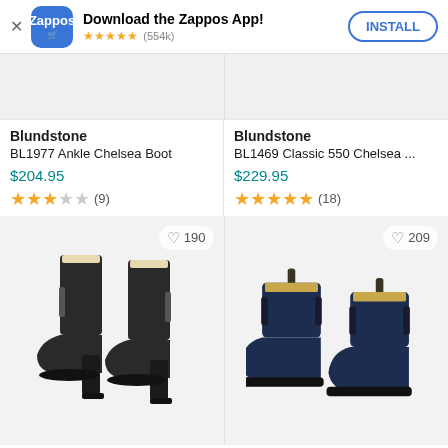[Figure (screenshot): Zappos app install banner with logo, star rating (554k reviews), and INSTALL button]
Blundstone
BL1977 Ankle Chelsea Boot
$204.95
★★★☆☆ (9)
Blundstone
BL1469 Classic 550 Chelsea ...
$229.95
★★★★★ (18)
[Figure (photo): Black leather heeled ankle Chelsea boot (Blundstone BL1977), wishlist 190]
[Figure (photo): Navy suede flat Chelsea boot (Blundstone BL1469), wishlist 209]